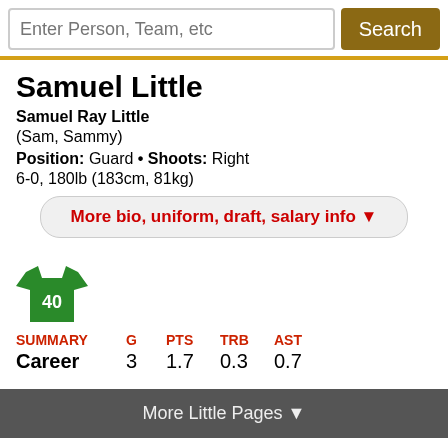Enter Person, Team, etc  Search
Samuel Little
Samuel Ray Little
(Sam, Sammy)
Position: Guard • Shoots: Right
6-0, 180lb (183cm, 81kg)
More bio, uniform, draft, salary info ▼
[Figure (illustration): Green basketball jersey with number 40]
| SUMMARY | G | PTS | TRB | AST |
| --- | --- | --- | --- | --- |
| Career | 3 | 1.7 | 0.3 | 0.7 |
More Little Pages ▼
Per Game